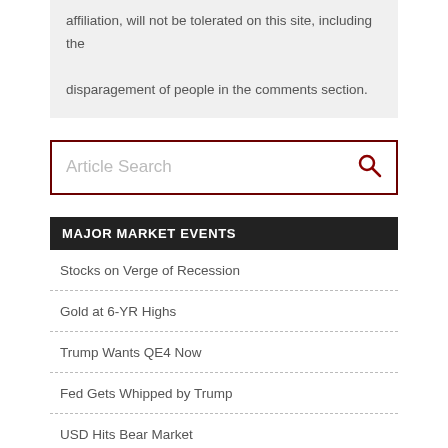affiliation, will not be tolerated on this site, including the disparagement of people in the comments section.
[Figure (other): Article search input box with dark red border and magnifying glass icon]
MAJOR MARKET EVENTS
Stocks on Verge of Recession
Gold at 6-YR Highs
Trump Wants QE4 Now
Fed Gets Whipped by Trump
USD Hits Bear Market
Gold/Silver Ratio at Extreme